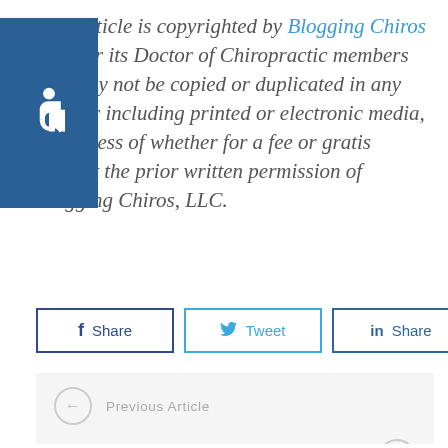This article is copyrighted by Blogging Chiros LLC for its Doctor of Chiropractic members and may not be copied or duplicated in any manner including printed or electronic media, regardless of whether for a fee or gratis without the prior written permission of Blogging Chiros, LLC.
[Figure (infographic): Blue accessibility icon (wheelchair symbol) overlaying text on left side]
Share | Tweet | Share (social share buttons for Facebook, Twitter, LinkedIn)
Previous Article
Next Article